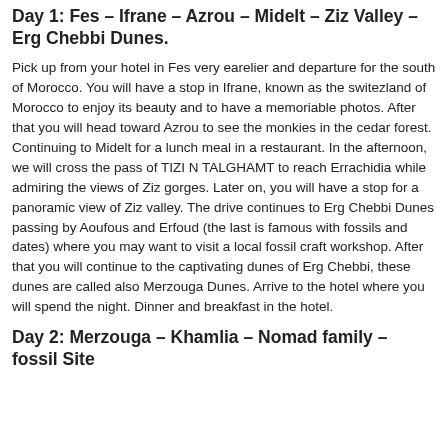Day 1: Fes – Ifrane – Azrou – Midelt – Ziz Valley – Erg Chebbi Dunes.
Pick up from your hotel in Fes very earelier and departure for the south of Morocco. You will have a stop in Ifrane, known as the switezland of Morocco to enjoy its beauty and to have a memoriable photos. After that you will head toward Azrou to see the monkies in the cedar forest. Continuing to Midelt for a lunch meal in a restaurant. In the afternoon, we will cross the pass of TIZI N TALGHAMT to reach Errachidia while admiring the views of Ziz gorges. Later on, you will have a stop for a panoramic view of Ziz valley. The drive continues to Erg Chebbi Dunes passing by Aoufous and Erfoud (the last is famous with fossils and dates) where you may want to visit a local fossil craft workshop. After that you will continue to the captivating dunes of Erg Chebbi, these dunes are called also Merzouga Dunes. Arrive to the hotel where you will spend the night. Dinner and breakfast in the hotel.
Day 2: Merzouga  – Khamlia – Nomad family – fossil Site